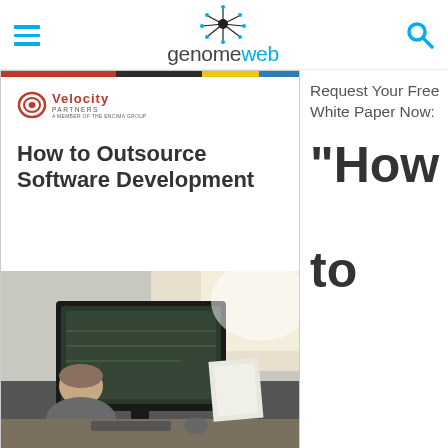genomeweb
[Figure (illustration): White paper cover: Velocity Partners logo at top left, title 'How to Outsource Software Development', photo of person working at computer monitor in office setting]
Request Your Free White Paper Now:
"How to